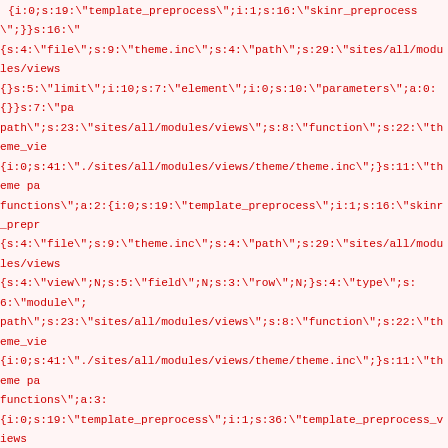{i:0;s:19:"template_preprocess";i:1;s:16:"skinr_preprocess";}}s:16:"
s{s:4:"file";s:9:"theme.inc";s:4:"path";s:29:"sites/all/modules/views
{}s:5:"limit";i:10;s:7:"element";i:0;s:10:"parameters";a:0:{}}s:7:"pa
path";s:23:"sites/all/modules/views";s:8:"function";s:22:"theme_vie
{i:0;s:41:"./sites/all/modules/views/theme/theme.inc";}s:11:"theme pa
functions";a:2:{i:0;s:19:"template_preprocess";i:1;s:16:"skinr_prepr
{s:4:"file";s:9:"theme.inc";s:4:"path";s:29:"sites/all/modules/views
{s:4:"view";N;s:5:"field";N;s:3:"row";N;}s:4:"type";s:6:"module";
path";s:23:"sites/all/modules/views";s:8:"function";s:22:"theme_vie
{i:0;s:41:"./sites/all/modules/views/theme/theme.inc";}s:11:"theme pa
functions";a:3:
{i:0;s:19:"template_preprocess";i:1;s:36:"template_preprocess_views
{s:7:"pattern";s:12:"views_view__";s:4:"file";s:9:"theme.inc";s:4:"
{s:4:"view";N;}s:8:"template";s:10:"views-view";s:4:"type";s:6:"m
{i:0;s:41:"./sites/all/modules/views/theme/theme.inc";}s:11:"theme pa
functions";a:4:
{i:0;s:19:"template_preprocess";i:1;s:30:"template_preprocess_views
{s:7:"pattern";s:35:"views_attach_display_profile_view__";s:4:"file"
{s:4:"view";N;}s:8:"template";s:33:"views-attach-display-profile-vie
path";s:23:"sites/all/modules/views";s:13:"include files";a:1:{i:0;s:5
paths";a:1:{i:0;s:30:"sites/all/modules/views_attach";}s:20:"preproce
{i:0;s:19:"template_preprocess";i:1;s:53:"template_preprocess_views
{s:7:"pattern";s:40:"views_attach_display_node_content_view__";s:
{s:4:"view";N;}s:8:"template";s:38:"views-attach-display-node-conte
path";s:23:"sites/all/modules/views";s:13:"include files";a:1:{i:0;